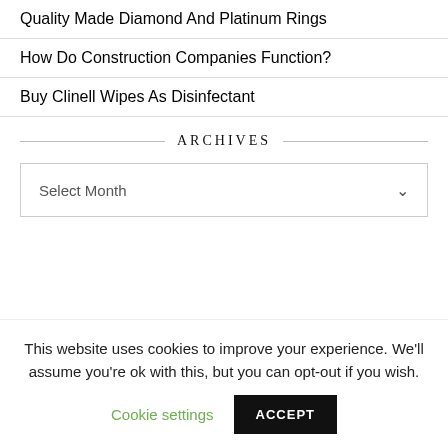Quality Made Diamond And Platinum Rings
How Do Construction Companies Function?
Buy Clinell Wipes As Disinfectant
ARCHIVES
Select Month
This website uses cookies to improve your experience. We'll assume you're ok with this, but you can opt-out if you wish.
Cookie settings
ACCEPT